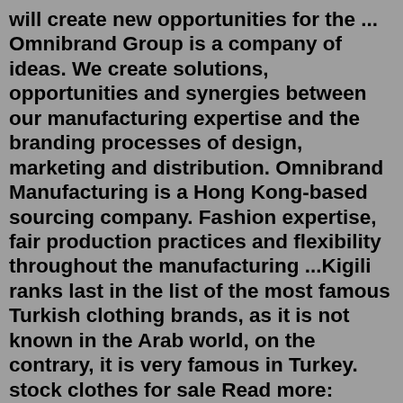will create new opportunities for the ... Omnibrand Group is a company of ideas. We create solutions, opportunities and synergies between our manufacturing expertise and the branding processes of design, marketing and distribution. Omnibrand Manufacturing is a Hong Kong-based sourcing company. Fashion expertise, fair production practices and flexibility throughout the manufacturing ...Kigili ranks last in the list of the most famous Turkish clothing brands, as it is not known in the Arab world, on the contrary, it is very famous in Turkey. stock clothes for sale Read more: wholesale jewelry in turkey .. Luxury and elegance with those 6 stores list of wholesale clothing suppliers in turkey1 Best Clothing exporters,suppliers,manufacturers In Turkey 2 Konsey Textile 3 Turkey Menswear 4 Turkopt 5 Fimka 6 FKN Textile 7 Fifty Butik 8 KARDEM 9 DeFacto Company 10 KOTON Clothing 11 Mavi Jeans 12 Conclusion Best Clothing exporters,suppliers,manufacturers In Turkey. It of fashion. Book in ...